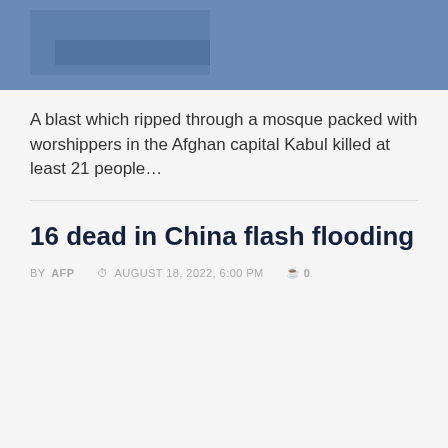[Figure (photo): Blue-toned partial photo, appears to show a scene outdoors or indoors with blue overlay, partially cropped]
A blast which ripped through a mosque packed with worshippers in the Afghan capital Kabul killed at least 21 people…
16 dead in China flash flooding
BY AFP  AUGUST 18, 2022, 6:00 PM  0